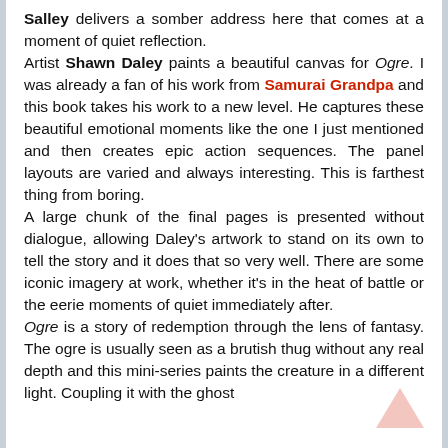Salley delivers a somber address here that comes at a moment of quiet reflection. Artist Shawn Daley paints a beautiful canvas for Ogre. I was already a fan of his work from Samurai Grandpa and this book takes his work to a new level. He captures these beautiful emotional moments like the one I just mentioned and then creates epic action sequences. The panel layouts are varied and always interesting. This is farthest thing from boring. A large chunk of the final pages is presented without dialogue, allowing Daley's artwork to stand on its own to tell the story and it does that so very well. There are some iconic imagery at work, whether it's in the heat of battle or the eerie moments of quiet immediately after. Ogre is a story of redemption through the lens of fantasy. The ogre is usually seen as a brutish thug without any real depth and this mini-series paints the creature in a different light. Coupling it with the ghost